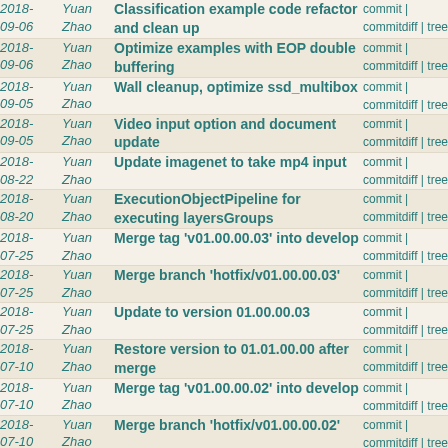| Date | Author | Message | Links |
| --- | --- | --- | --- |
| 2018-09-06 | Yuan Zhao | Classification example code refactor and clean up | commit | commitdiff | tree |
| 2018-09-06 | Yuan Zhao | Optimize examples with EOP double buffering | commit | commitdiff | tree |
| 2018-09-05 | Yuan Zhao | Wall cleanup, optimize ssd_multibox | commit | commitdiff | tree |
| 2018-09-05 | Yuan Zhao | Video input option and document update | commit | commitdiff | tree |
| 2018-08-22 | Yuan Zhao | Update imagenet to take mp4 input | commit | commitdiff | tree |
| 2018-08-20 | Yuan Zhao | ExecutionObjectPipeline for executing layersGroups | commit | commitdiff | tree |
| 2018-07-25 | Yuan Zhao | Merge tag 'v01.00.00.03' into develop | commit | commitdiff | tree |
| 2018-07-25 | Yuan Zhao | Merge branch 'hotfix/v01.00.00.03' | commit | commitdiff | tree |
| 2018-07-25 | Yuan Zhao | Update to version 01.00.00.03 | commit | commitdiff | tree |
| 2018-07-10 | Yuan Zhao | Restore version to 01.01.00.00 after merge | commit | commitdiff | tree |
| 2018-07-10 | Yuan Zhao | Merge tag 'v01.00.00.02' into develop | commit | commitdiff | tree |
| 2018-07-10 | Yuan Zhao | Merge branch 'hotfix/v01.00.00.02' | commit | commitdiff | tree |
| 2018-07-09 | Yuan Zhao | Clarify imagenet example output | commit | commitdiff | tree |
| 2018-06-28 | Yuan Zhao | TIDL-API docu update: time, probability | commit | commitdiff | tree |
| 2018- | Yuan | Add documentation for examples | commit | |